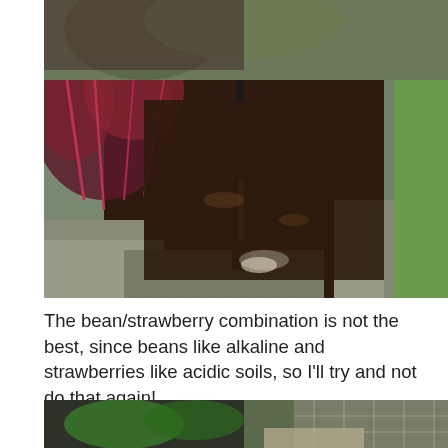[Figure (photo): A garden raised bed made of stones showing dark soil with a garden fork/spade stuck into the ground, reddish-stemmed plants (possibly beet or chard) on the left, and a wire mesh fence on the right with green grass visible.]
The bean/strawberry combination is not the best, since beans like alkaline and strawberries like acidic soils, so I'll try and not do that again!
[Figure (photo): Partial view of a garden area with black netting, green plants, and wire mesh fence visible at the bottom of the page.]